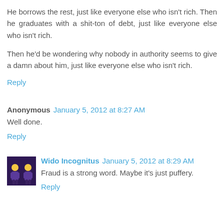He borrows the rest, just like everyone else who isn't rich. Then he graduates with a shit-ton of debt, just like everyone else who isn't rich.
Then he'd be wondering why nobody in authority seems to give a damn about him, just like everyone else who isn't rich.
Reply
Anonymous  January 5, 2012 at 8:27 AM
Well done.
Reply
Wido Incognitus  January 5, 2012 at 8:29 AM
Fraud is a strong word. Maybe it's just puffery.
Reply